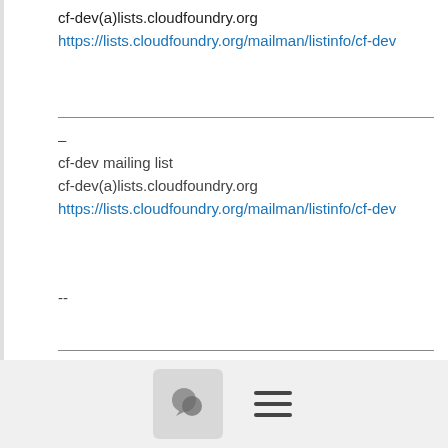cf-dev(a)lists.cloudfoundry.org
https://lists.cloudfoundry.org/mailman/listinfo/cf-dev
--
cf-dev mailing list
cf-dev(a)lists.cloudfoundry.org
https://lists.cloudfoundry.org/mailman/listinfo/cf-dev
--
http://kriskobylinski.mybluemix.net/
[Figure (other): Bottom toolbar with chat bubble icon button and hamburger menu icon]